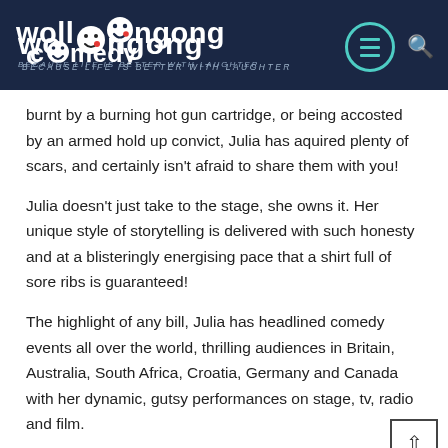Wollongong Comedy — BECAUSE LIFE IS BETTER WITH LAUGHTER
burnt by a burning hot gun cartridge, or being accosted by an armed hold up convict, Julia has aquired plenty of scars, and certainly isn't afraid to share them with you!
Julia doesn't just take to the stage, she owns it. Her unique style of storytelling is delivered with such honesty and at a blisteringly energising pace that a shirt full of sore ribs is guaranteed!
The highlight of any bill, Julia has headlined comedy events all over the world, thrilling audiences in Britain, Australia, South Africa, Croatia, Germany and Canada with her dynamic, gutsy performances on stage, tv, radio and film.
"Wilson is as tough as a sack full of nails... takes you on a taste